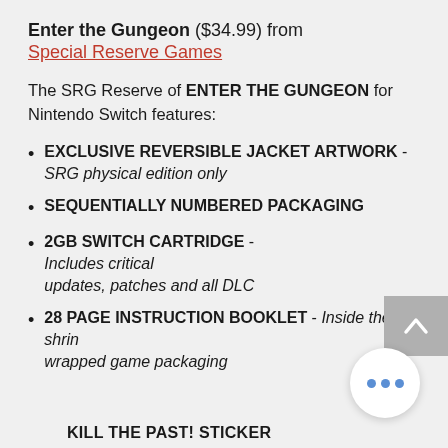Enter the Gungeon ($34.99) from Special Reserve Games
The SRG Reserve of ENTER THE GUNGEON for Nintendo Switch features:
EXCLUSIVE REVERSIBLE JACKET ARTWORK - SRG physical edition only
SEQUENTIALLY NUMBERED PACKAGING
2GB SWITCH CARTRIDGE - Includes critical updates, patches and all DLC
28 PAGE INSTRUCTION BOOKLET - Inside the shrink wrapped game packaging
KILL THE PAST! STICKER